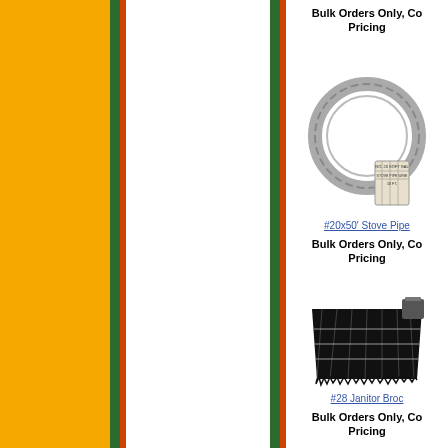Bulk Orders Only, Contact for Pricing
[Figure (photo): Coiled stove pipe wire, circular loop with a label tag]
#20x50' Stove Pipe Wire
Bulk Orders Only, Contact for Pricing
[Figure (photo): Janitor broom head, black bristles fanned out]
#28 Janitor Broom
Bulk Orders Only, Contact for Pricing